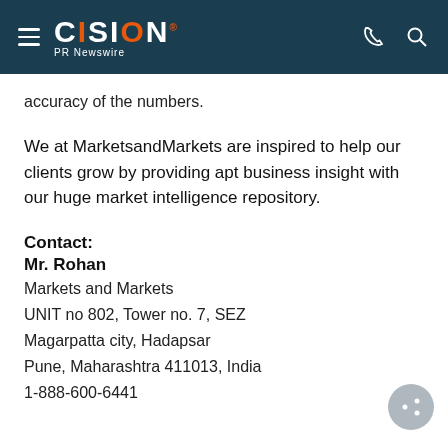CISION PR Newswire
accuracy of the numbers.
We at MarketsandMarkets are inspired to help our clients grow by providing apt business insight with our huge market intelligence repository.
Contact:
Mr. Rohan
Markets and Markets
UNIT no 802, Tower no. 7, SEZ
Magarpatta city, Hadapsar
Pune, Maharashtra 411013, India
1-888-600-6441